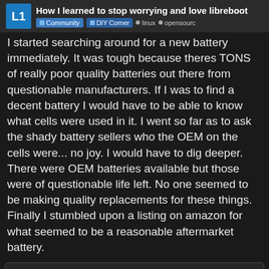How I learned to stop worrying and love libreboot — Community · DIY Corner · linux · opensource
I started searching around for a new battery immediately. It was tough because theres TONS of really poor quality batteries out there from questionable manufacturers. If I was to find a decent battery I would have to be able to know what cells were used in it. I went so far as to ask the shady battery sellers who the OEM on the cells were... no joy. I would have to dig deeper. There were OEM batteries available but those were of questionable life left. No one seemed to be making quality replacements for these things. Finally I stumbled upon a listing on amazon for what seemed to be a reasonable aftermarket battery.
[Figure (screenshot): Amazon.com product card showing 'New GHU Battery 73 WH Replacement for 42T5264 42T5265 42t5230...' with a product image of a laptop battery and a page indicator showing 1/13]